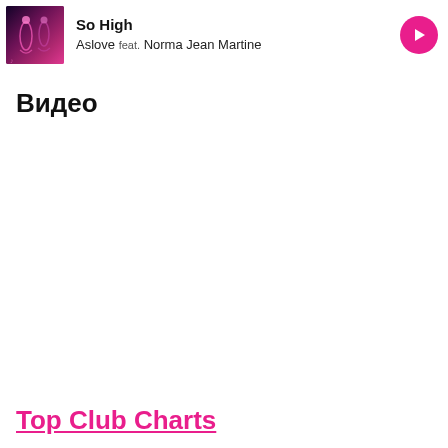[Figure (photo): Album art thumbnail for So High by Aslove feat. Norma Jean Martine — dark purple/pink gradient background with stylized figures]
So High
Aslove feat. Norma Jean Martine
[Figure (illustration): Pink circular play button with white triangle arrow]
Видео
Top Club Charts